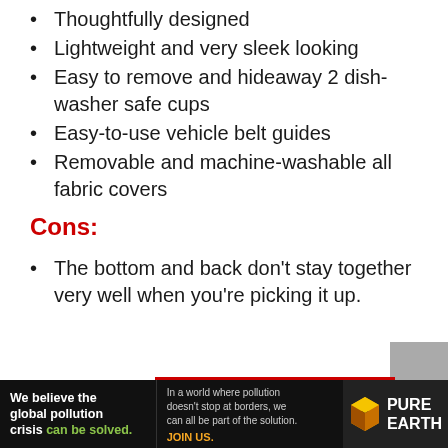Thoughtfully designed
Lightweight and very sleek looking
Easy to remove and hideaway 2 dishwasher safe cups
Easy-to-use vehicle belt guides
Removable and machine-washable all fabric covers
Cons:
The bottom and back don't stay together very well when you're picking it up.
[Figure (other): Advertisement banner for Pure Earth organization with text 'We believe the global pollution crisis can be solved.' and 'In a world where pollution doesn't stop at borders, we can all be part of the solution. JOIN US.' with Pure Earth logo]